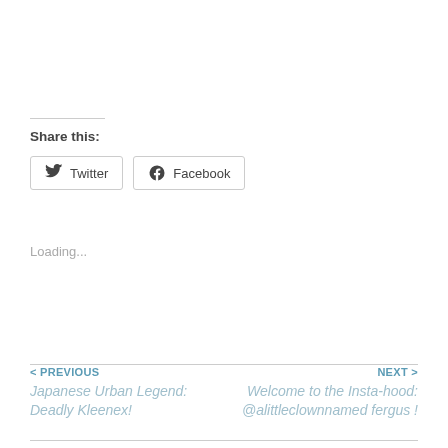Share this:
Twitter
Facebook
Loading...
< PREVIOUS
Japanese Urban Legend: Deadly Kleenex!
NEXT >
Welcome to the Insta-hood: @alittleclownnamed fergus !